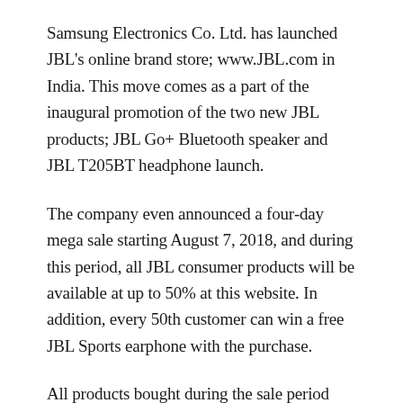Samsung Electronics Co. Ltd. has launched JBL's online brand store; www.JBL.com in India. This move comes as a part of the inaugural promotion of the two new JBL products; JBL Go+ Bluetooth speaker and JBL T205BT headphone launch.
The company even announced a four-day mega sale starting August 7, 2018, and during this period, all JBL consumer products will be available at up to 50% at this website. In addition, every 50th customer can win a free JBL Sports earphone with the purchase.
All products bought during the sale period will get an additional one-year extended warranty.